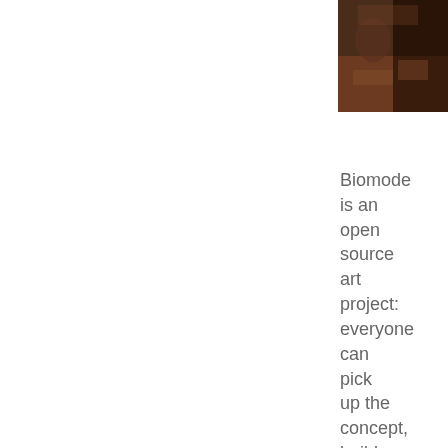[Figure (photo): A small photo showing a dark-toned scene, partially cropped at the right edge of the page. Brown and dark tones visible.]
Biomode is an open source art project: everyone can pick up the concept, build his/her own interpretation, use the 'Biomode